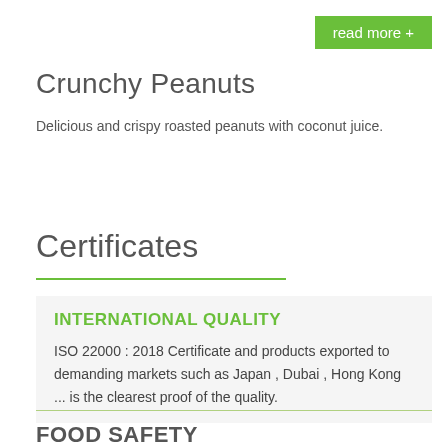read more +
Crunchy Peanuts
Delicious and crispy roasted peanuts with coconut juice.
Certificates
INTERNATIONAL QUALITY
ISO 22000 : 2018 Certificate and products exported to demanding markets such as Japan , Dubai , Hong Kong ... is the clearest proof of the quality.
FOOD SAFETY